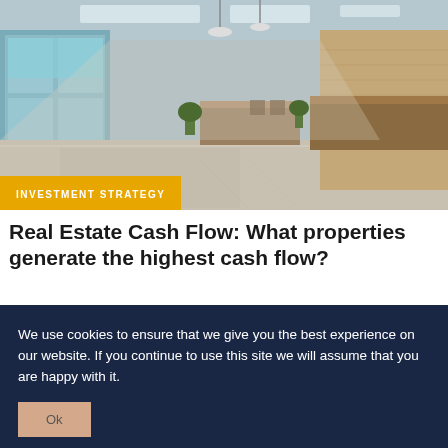[Figure (photo): Interior photo of a modern commercial real estate lobby with marble floors, reception desk, high ceilings, and large windows showing an outdoor view.]
INVESTMENT STRATEGY
Real Estate Cash Flow: What properties generate the highest cash flow?
We use cookies to ensure that we give you the best experience on our website. If you continue to use this site we will assume that you are happy with it.
Ok